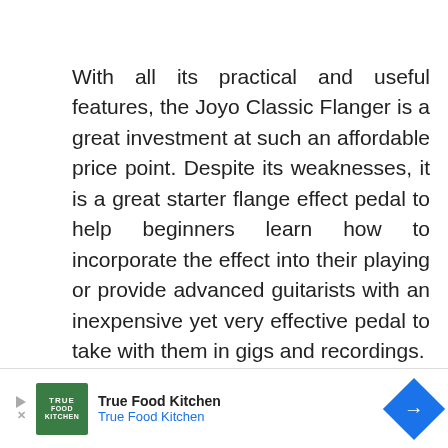With all its practical and useful features, the Joyo Classic Flanger is a great investment at such an affordable price point. Despite its weaknesses, it is a great starter flange effect pedal to help beginners learn how to incorporate the effect into their playing or provide advanced guitarists with an inexpensive yet very effective pedal to take with them in gigs and recordings.
Controls
[Figure (other): Advertisement banner for True Food Kitchen showing logo, name, and navigation arrow icon]